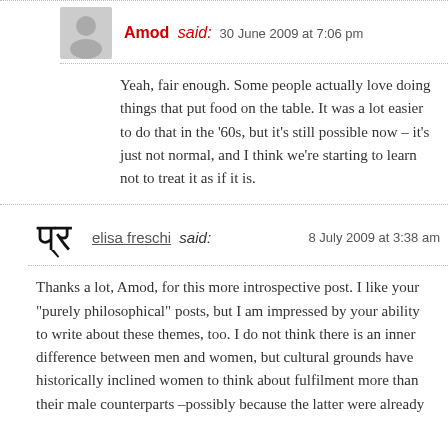Amod said: 30 June 2009 at 7:06 pm
Yeah, fair enough. Some people actually love doing things that put food on the table. It was a lot easier to do that in the '60s, but it's still possible now – it's just not normal, and I think we're starting to learn not to treat it as if it is.
elisa freschi said: 8 July 2009 at 3:38 am
Thanks a lot, Amod, for this more introspective post. I like your "purely philosophical" posts, but I am impressed by your ability to write about these themes, too. I do not think there is an inner difference between men and women, but cultural grounds have historically inclined women to think about fulfilment more than their male counterparts –possibly because the latter were already